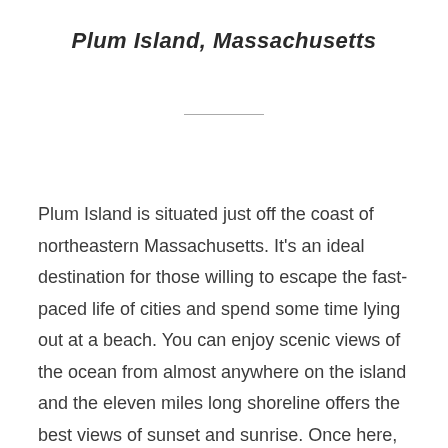Plum Island, Massachusetts
Plum Island is situated just off the coast of northeastern Massachusetts. It's an ideal destination for those willing to escape the fast-paced life of cities and spend some time lying out at a beach. You can enjoy scenic views of the ocean from almost anywhere on the island and the eleven miles long shoreline offers the best views of sunset and sunrise. Once here, you can stroll along the beach and soak in the local New England Culture and food. There are places to go for